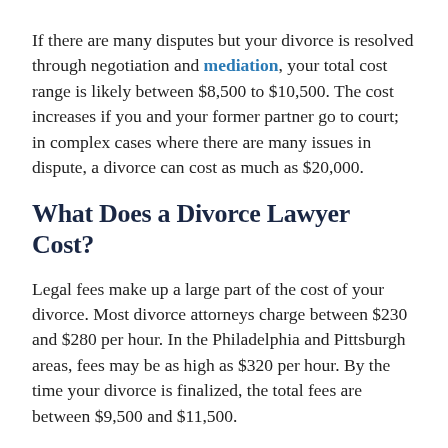If there are many disputes but your divorce is resolved through negotiation and mediation, your total cost range is likely between $8,500 to $10,500. The cost increases if you and your former partner go to court; in complex cases where there are many issues in dispute, a divorce can cost as much as $20,000.
What Does a Divorce Lawyer Cost?
Legal fees make up a large part of the cost of your divorce. Most divorce attorneys charge between $230 and $280 per hour. In the Philadelphia and Pittsburgh areas, fees may be as high as $320 per hour. By the time your divorce is finalized, the total fees are between $9,500 and $11,500.